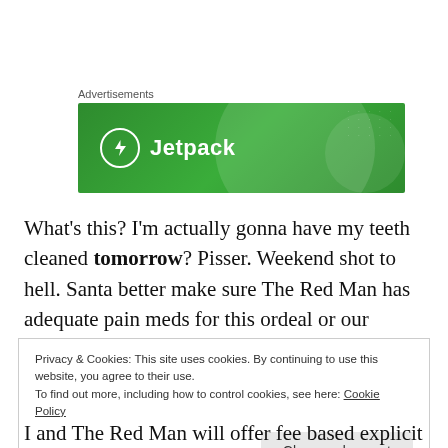[Figure (other): Jetpack advertisement banner with green background, circular decorative elements, and Jetpack logo with lightning bolt icon]
What’s this?  I’m actually gonna have my teeth cleaned tomorrow?  Pisser.  Weekend shot to hell.  Santa better make sure The Red Man has adequate pain meds for this ordeal or our relationship might be in danger.
Privacy & Cookies: This site uses cookies. By continuing to use this website, you agree to their use.
To find out more, including how to control cookies, see here: Cookie Policy
Close and accept
I'm and The Red Man will offer fee based explicit...